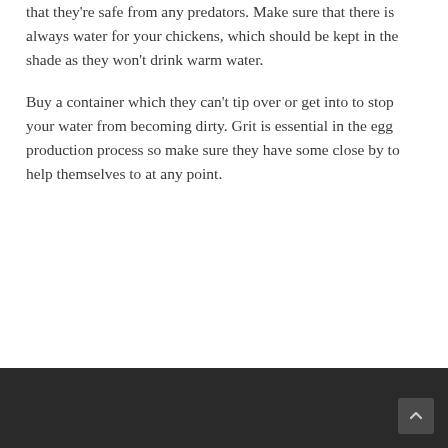that they're safe from any predators. Make sure that there is always water for your chickens, which should be kept in the shade as they won't drink warm water.
Buy a container which they can't tip over or get into to stop your water from becoming dirty. Grit is essential in the egg production process so make sure they have some close by to help themselves to at any point.